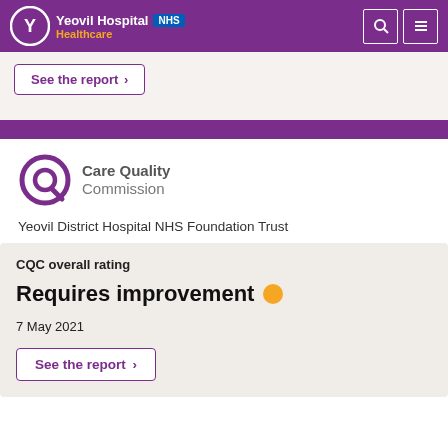Yeovil Hospital NHS Healthcare
See the report
[Figure (logo): Care Quality Commission logo with stylized Q icon in purple]
Yeovil District Hospital NHS Foundation Trust
CQC overall rating
Requires improvement
7 May 2021
See the report